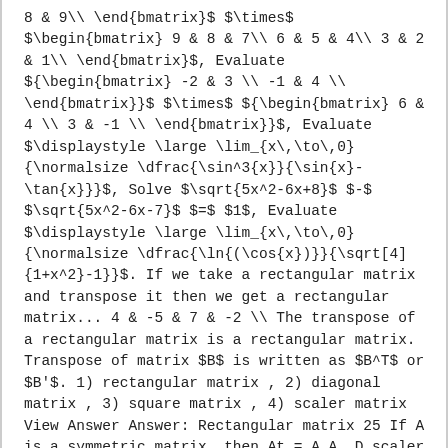8 & 9\ \end{bmatrix}$ $\times$ $\begin{bmatrix} 9 & 8 & 7\\ 6 & 5 & 4\\ 3 & 2 & 1\\ \end{bmatrix}$, Evaluate ${\begin{bmatrix} -2 & 3 \\ -1 & 4 \\ \end{bmatrix}}$ $\times$ ${\begin{bmatrix} 6 & 4 \\ 3 & -1 \\ \end{bmatrix}}$, Evaluate $\displaystyle \large \lim_{x\,\to\,0}{\normalsize \dfrac{\sin^3{x}}{\sin{x}-\tan{x}}}$, Solve $\sqrt{5x^2-6x+8}$ $-$ $\sqrt{5x^2-6x-7}$ $=$ $1$, Evaluate $\displaystyle \large \lim_{x\,\to\,0}{\normalsize \dfrac{\ln{(\cos{x})}}{\sqrt[4]{1+x^2}-1}}$. If we take a rectangular matrix and transpose it then we get a rectangular matrix... 4 & -5 & 7 & -2 \\ The transpose of a rectangular matrix is a rectangular matrix. Transpose of matrix $B$ is written as $B^T$ or $B'$. 1) rectangular matrix , 2) diagonal matrix , 3) square matrix , 4) scaler matrix View Answer Answer: Rectangular matrix 25 If A is a symmetric matrix, then At = A A. D scaler matrix. One of the standard